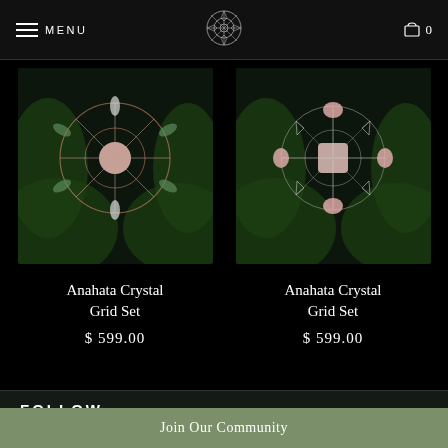MENU | [logo] | 0
[Figure (photo): Crystal grid mandala arrangement with rose quartz and green tourmaline on black background with tropical leaves]
Anahata Crystal Grid Set
$599.00
[Figure (photo): Crystal grid mandala arrangement with rose quartz and other crystals on black background with tropical leaves]
Anahata Crystal Grid Set
$599.00
FOLLOW
Join Our Community